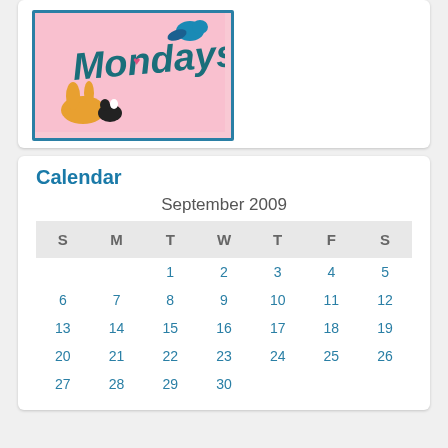[Figure (illustration): Mondays cartoon illustration with teal border on pink background showing pets and stylized 'Mondays' text]
Calendar
| S | M | T | W | T | F | S |
| --- | --- | --- | --- | --- | --- | --- |
|  |  | 1 | 2 | 3 | 4 | 5 |
| 6 | 7 | 8 | 9 | 10 | 11 | 12 |
| 13 | 14 | 15 | 16 | 17 | 18 | 19 |
| 20 | 21 | 22 | 23 | 24 | 25 | 26 |
| 27 | 28 | 29 | 30 |  |  |  |